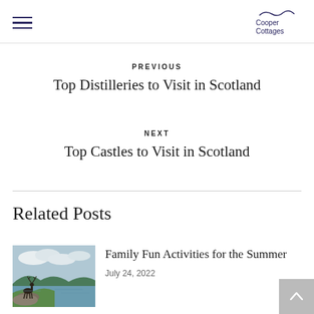Cooper Cottages (navigation header with hamburger menu and logo)
PREVIOUS
Top Distilleries to Visit in Scotland
NEXT
Top Castles to Visit in Scotland
Related Posts
[Figure (photo): A stag statue on rocks beside a loch with hills in the background]
Family Fun Activities for the Summer
July 24, 2022